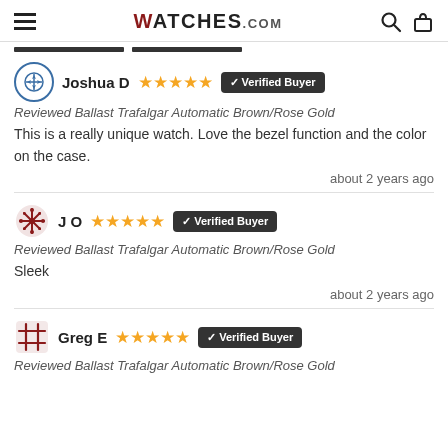WATCHES.COM
Joshua D ★★★★★ ✓ Verified Buyer
Reviewed Ballast Trafalgar Automatic Brown/Rose Gold
This is a really unique watch. Love the bezel function and the color on the case.
about 2 years ago
JO ★★★★★ ✓ Verified Buyer
Reviewed Ballast Trafalgar Automatic Brown/Rose Gold
Sleek
about 2 years ago
Greg E ★★★★★ ✓ Verified Buyer
Reviewed Ballast Trafalgar Automatic Brown/Rose Gold